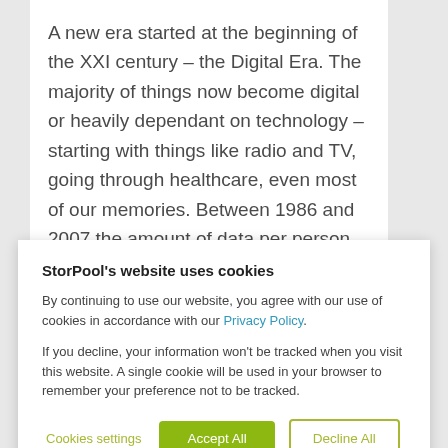A new era started at the beginning of the XXI century – the Digital Era. The majority of things now become digital or heavily dependant on technology – starting with things like radio and TV, going through healthcare, even most of our memories. Between 1986 and 2007 the amount of data per person has been growing with 23% per year as ComputerWorld reports. As a result
StorPool's website uses cookies
By continuing to use our website, you agree with our use of cookies in accordance with our Privacy Policy.
If you decline, your information won't be tracked when you visit this website. A single cookie will be used in your browser to remember your preference not to be tracked.